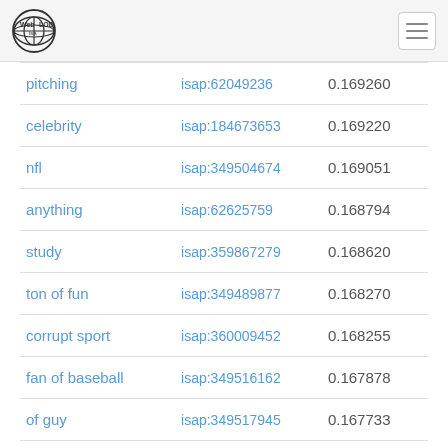Web isa LOD
| pitching | isap:62049236 | 0.169260 |
| celebrity | isap:184673653 | 0.169220 |
| nfl | isap:349504674 | 0.169051 |
| anything | isap:62625759 | 0.168794 |
| study | isap:359867279 | 0.168620 |
| ton of fun | isap:349489877 | 0.168270 |
| corrupt sport | isap:360009452 | 0.168255 |
| fan of baseball | isap:349516162 | 0.167878 |
| of guy | isap:349517945 | 0.167733 |
| different season | isap:481462994 | 0.167620 |